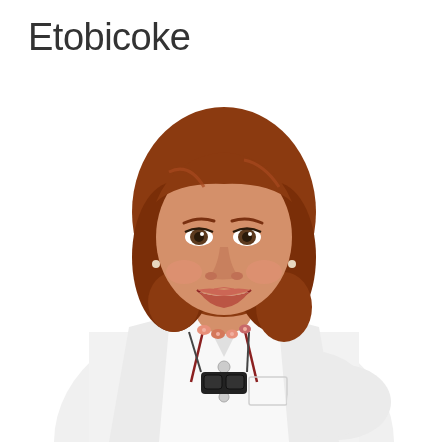Etobicoke
[Figure (photo): Professional portrait photo of a woman with auburn/red shoulder-length hair with bangs, wearing a white medical/dental coat with buttons, a pink floral necklace, and dental loupes hanging around her neck. She is smiling broadly, showing white teeth, with one hand on her hip. White background.]